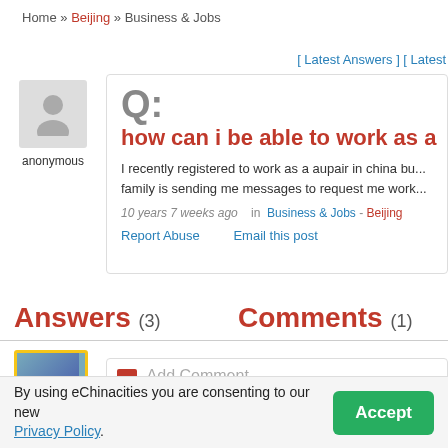Home » Beijing » Business & Jobs
[ Latest Answers ] [ Latest...
[Figure (photo): Anonymous user avatar placeholder icon]
anonymous
Q:
how can i be able to work as a...
I recently registered to work as a aupair in china bu... family is sending me messages to request me work...
10 years 7 weeks ago   in  Business & Jobs - Beijing
Report Abuse   Email this post
Answers (3)
Comments (1)
[Figure (photo): User avatar thumbnail with yellow border]
Add Comment
By using eChinacities you are consenting to our new Privacy Policy.
Accept